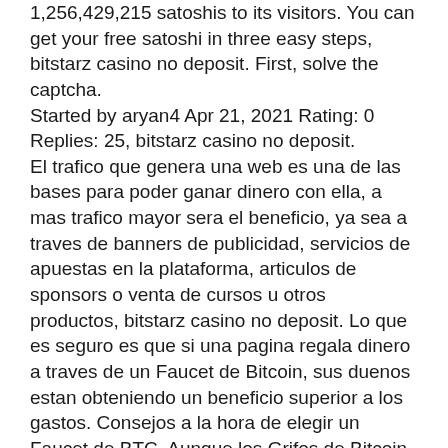1,256,429,215 satoshis to its visitors. You can get your free satoshi in three easy steps, bitstarz casino no deposit. First, solve the captcha.
Started by aryan4 Apr 21, 2021 Rating: 0 Replies: 25, bitstarz casino no deposit.
El trafico que genera una web es una de las bases para poder ganar dinero con ella, a mas trafico mayor sera el beneficio, ya sea a traves de banners de publicidad, servicios de apuestas en la plataforma, articulos de sponsors o venta de cursos u otros productos, bitstarz casino no deposit. Lo que es seguro es que si una pagina regala dinero a traves de un Faucet de Bitcoin, sus duenos estan obteniendo un beneficio superior a los gastos. Consejos a la hora de elegir un Faucet de BTC. Aunque los Grifos de Bitcoin regalen criptomonedas, hay que ser cuidadoso y tener ciertas precauciones, ya que a nadie le gusta perder dinero (aunque sea regalado) ni ver como el tiempo